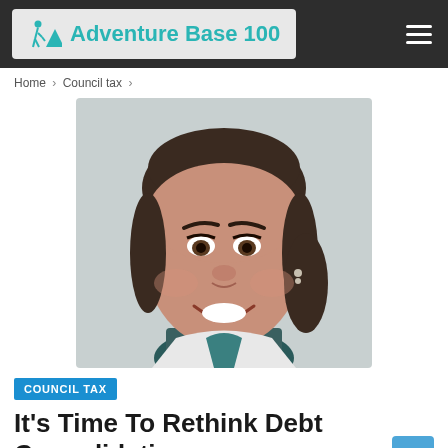Adventure Base 100
Home > Council tax >
[Figure (photo): Close-up portrait photo of a smiling woman with dark hair pulled back, wearing a white top with a teal/green collar, small stud earrings]
COUNCIL TAX
It's Time To Rethink Debt Consolidation